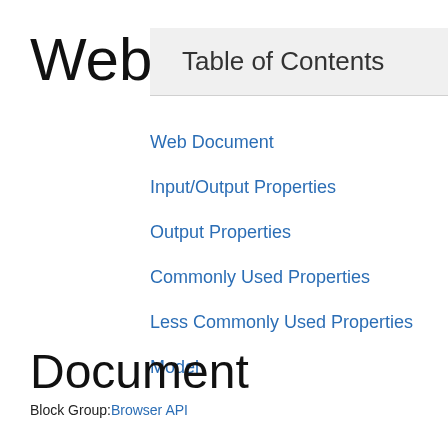Web
Table of Contents
Web Document
Input/Output Properties
Output Properties
Commonly Used Properties
Less Commonly Used Properties
Model
Document
Block Group: Browser API